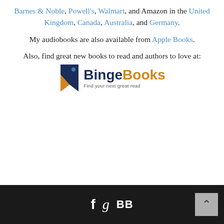Barnes & Noble, Powell's, Walmart, and Amazon in the United Kingdom, Canada, Australia, and Germany.
My audiobooks are also available from Apple Books.
Also, find great new books to read and authors to love at:
[Figure (logo): BingeBooks logo with bookmark icon and tagline 'Find your next great read']
[Figure (photo): Pink chrysanthemum flowers with a notebook on a light blue/white wooden surface background]
f g BB